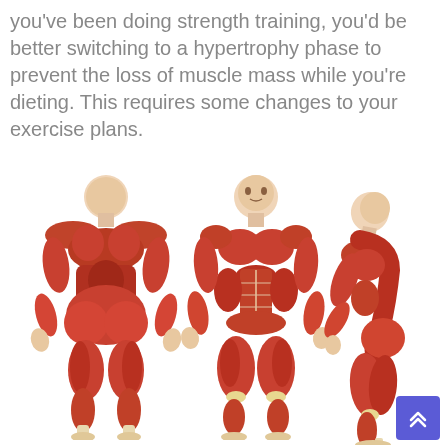you've been doing strength training, you'd be better switching to a hypertrophy phase to prevent the loss of muscle mass while you're dieting. This requires some changes to your exercise plans.
[Figure (illustration): Three anatomical muscle diagrams of a human body: back view (posterior), front view (anterior), and side view (lateral), showing the muscular system with red-orange muscles and white tendons/connective tissue.]